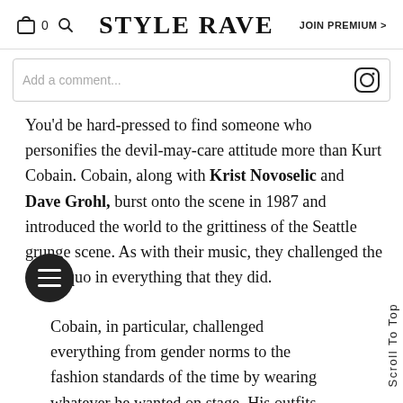STYLE RAVE | JOIN PREMIUM >
[Figure (screenshot): Comment input bar with Instagram icon on the right]
You'd be hard-pressed to find someone who personifies the devil-may-care attitude more than Kurt Cobain. Cobain, along with Krist Novoselic and Dave Grohl, burst onto the scene in 1987 and introduced the world to the grittiness of the Seattle grunge scene. As with their music, they challenged the status quo in everything that they did.
Cobain, in particular, challenged everything from gender norms to the fashion standards of the time by wearing whatever he wanted on stage. His outfits